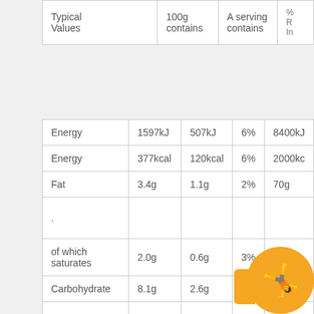| Typical Values | 100g contains | A serving contains | % RI In |
| --- | --- | --- | --- |
| Typical Values | 100g contains | A serving contains | % | RI |
| --- | --- | --- | --- | --- |
| Energy | 1597kJ | 507kJ | 6% | 8400kJ |
| Energy | 377kcal | 120kcal | 6% | 2000kc |
| Fat | 3.4g | 1.1g | 2% | 70g |
| . |  |  |  |  |
| of which saturates | 2.0g | 0.6g | 3% | 20g |
| Carbohydrate | 8.1g | 2.6g | 1% | 20 |
| . |  |  |  |  |